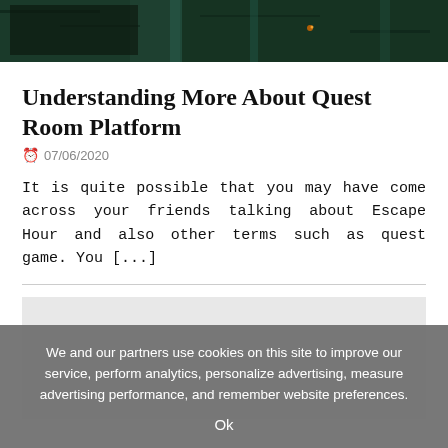[Figure (photo): Dark image showing a dimly lit room with teal/dark green walls and atmospheric lighting, appearing to be an escape room setting]
Understanding More About Quest Room Platform
07/06/2020
It is quite possible that you may have come across your friends talking about Escape Hour and also other terms such as quest game. You [...]
[Figure (other): Advertisement placeholder block (gray rectangle)]
We and our partners use cookies on this site to improve our service, perform analytics, personalize advertising, measure advertising performance, and remember website preferences.
Ok